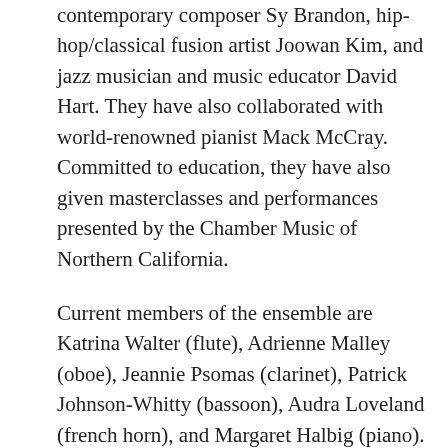contemporary composer Sy Brandon, hip-hop/classical fusion artist Joowan Kim, and jazz musician and music educator David Hart. They have also collaborated with world-renowned pianist Mack McCray. Committed to education, they have also given masterclasses and performances presented by the Chamber Music of Northern California.
Current members of the ensemble are Katrina Walter (flute), Adrienne Malley (oboe), Jeannie Psomas (clarinet), Patrick Johnson-Whitty (bassoon), Audra Loveland (french horn), and Margaret Halbig (piano). Members hold advanced degrees from prestigious institutions including Carnegie Mellon University, the Eastman School of Music, Northwestern University, the San Francisco Conservatory of Music, the University of Michigan, the University of Cincinnati Conservatory of Music, and the University of California, Santa Barbara. Individual members also perform with orchestras throughout the Bay Area, including the San Francisco Symphony, San Francisco Ballet, Symphony Silicon Valley,